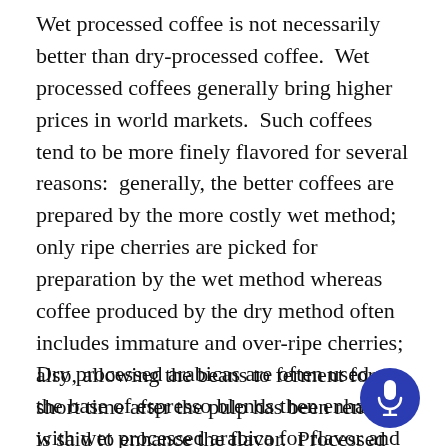Wet processed coffee is not necessarily better than dry-processed coffee.  Wet processed coffees generally bring higher prices in world markets.  Such coffees tend to be more finely flavored for several reasons:  generally, the better coffees are prepared by the more costly wet method; only ripe cherries are picked for preparation by the wet method whereas coffee produced by the dry method often includes immature and over-ripe cherries; also, allowing the beans to ferment for a short time after the pulp has been removed is said to enhance the flavor.  Processed with care, however, natural coffees can be as good or better than washed coffee.
Dry processed arabicas are often used as the base of espresso blends then enhanced with wet processed arabica for flavor and a small amount of robusta for body.  The wet